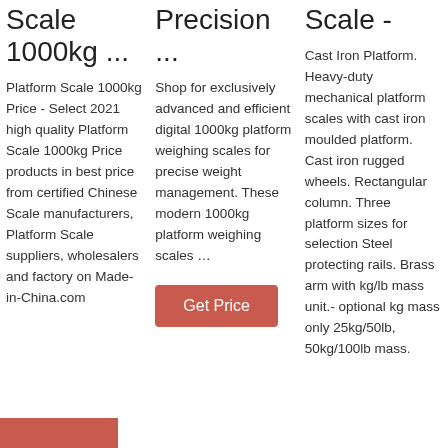Scale 1000kg ...
Platform Scale 1000kg Price - Select 2021 high quality Platform Scale 1000kg Price products in best price from certified Chinese Scale manufacturers, Platform Scale suppliers, wholesalers and factory on Made-in-China.com
Precision ...
Shop for exclusively advanced and efficient digital 1000kg platform weighing scales for precise weight management. These modern 1000kg platform weighing scales ...
Scale -
Cast Iron Platform. Heavy-duty mechanical platform scales with cast iron moulded platform. Cast iron rugged wheels. Rectangular column. Three platform sizes for selection Steel protecting rails. Brass arm with kg/lb mass unit.- optional kg mass only 25kg/50lb, 50kg/100lb mass.